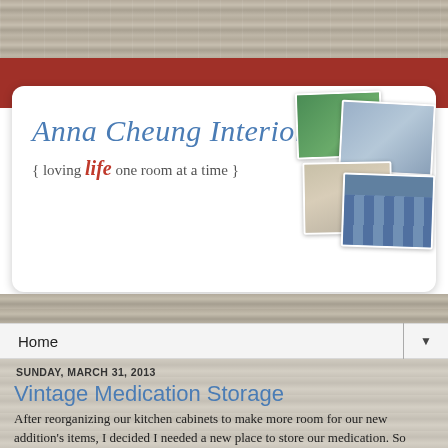[Figure (screenshot): Wood plank texture background at top of page]
[Figure (screenshot): Red/brown banner below wood texture]
[Figure (screenshot): Anna Cheung Interiors blog logo card with italic blue serif title, subtitle 'loving life one room at a time', and collage of four interior design photos]
Home
SUNDAY, MARCH 31, 2013
Vintage Medication Storage
After reorganizing our kitchen cabinets to make more room for our new addition's items, I decided I needed a new place to store our medication. So ensued the search for a container. Yes, I am first and foremost a supporter of anything Clever Container since I am a consultant. But so